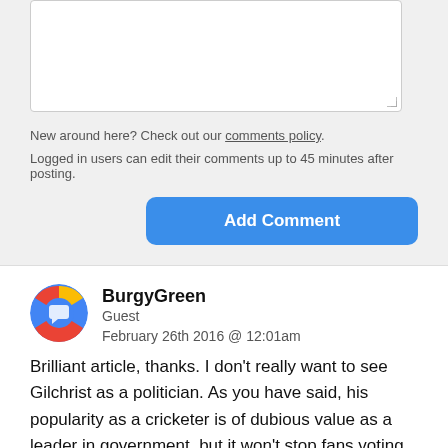New around here? Check out our comments policy.
Logged in users can edit their comments up to 45 minutes after posting.
Add Comment
BurgyGreen
Guest
February 26th 2016 @ 12:01am
Brilliant article, thanks. I don’t really want to see Gilchrist as a politician. As you have said, his popularity as a cricketer is of dubious value as a leader in government, but it won’t stop fans voting for him anyway.
CLOSE